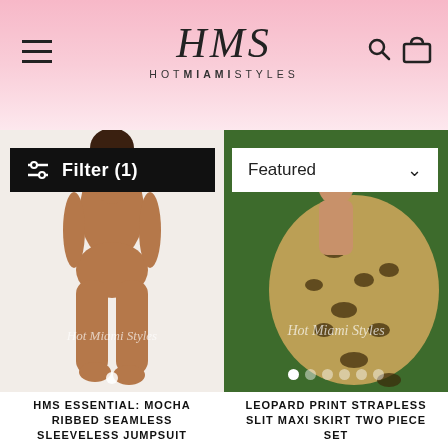HMS HOT MIAMI STYLES - navigation header with logo, hamburger menu, search and cart icons
[Figure (screenshot): Hot Miami Styles e-commerce product page showing two product photos side by side. Left: woman in mocha ribbed seamless sleeveless jumpsuit on white background with Filter (1) bar overlay. Right: woman in leopard print strapless slit maxi skirt two piece set on green background with Featured dropdown overlay and carousel dots.]
HMS ESSENTIAL: MOCHA RIBBED SEAMLESS SLEEVELESS JUMPSUIT
LEOPARD PRINT STRAPLESS SLIT MAXI SKIRT TWO PIECE SET